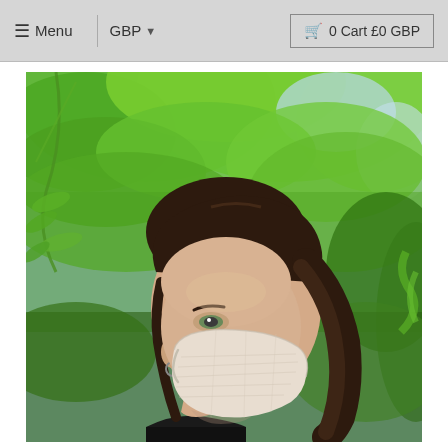☰ Menu  |  GBP ▾  |  🛒 0 Cart £0 GBP
[Figure (photo): A woman wearing a beige/cream linen face mask, photographed outdoors with green trees in the background. She has dark brown hair pulled back and is facing slightly to the right.]